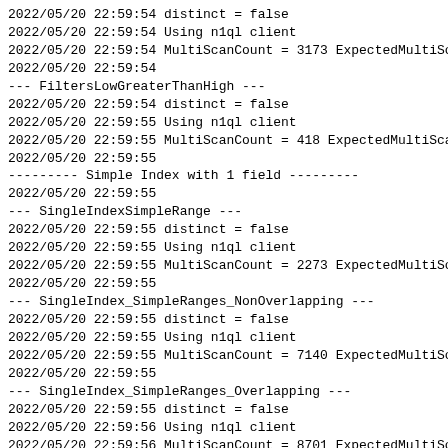2022/05/20 22:59:54 distinct = false
2022/05/20 22:59:54 Using n1ql client
2022/05/20 22:59:54 MultiScanCount = 3173 ExpectedMultiSc
2022/05/20 22:59:54
--- FiltersLowGreaterThanHigh ---
2022/05/20 22:59:54 distinct = false
2022/05/20 22:59:55 Using n1ql client
2022/05/20 22:59:55 MultiScanCount = 418 ExpectedMultiSca
2022/05/20 22:59:55
--------- Simple Index with 1 field ---------
2022/05/20 22:59:55
--- SingleIndexSimpleRange ---
2022/05/20 22:59:55 distinct = false
2022/05/20 22:59:55 Using n1ql client
2022/05/20 22:59:55 MultiScanCount = 2273 ExpectedMultiSc
2022/05/20 22:59:55
--- SingleIndex_SimpleRanges_NonOverlapping ---
2022/05/20 22:59:55 distinct = false
2022/05/20 22:59:55 Using n1ql client
2022/05/20 22:59:55 MultiScanCount = 7140 ExpectedMultiSc
2022/05/20 22:59:55
--- SingleIndex_SimpleRanges_Overlapping ---
2022/05/20 22:59:55 distinct = false
2022/05/20 22:59:56 Using n1ql client
2022/05/20 22:59:56 MultiScanCount = 8701 ExpectedMultiSc
2022/05/20 22:59:56
--------- Composite Index with 3 fields ---------
2022/05/20 22:59:56